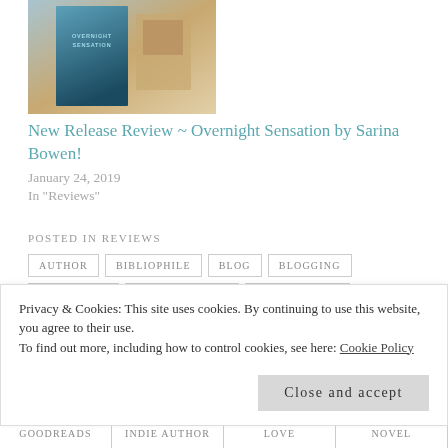[Figure (photo): Book cover image of 'Overnight Sensation' positioned at top left of the page]
New Release Review ~ Overnight Sensation by Sarina Bowen!
January 24, 2019
In "Reviews"
POSTED IN REVIEWS
AUTHOR
BIBLIOPHILE
BLOG
BLOGGING
BOOK BLOG
BOOK BLOGGER
BOOK REVIEW
BOOKS
BOOKWORM
Privacy & Cookies: This site uses cookies. By continuing to use this website, you agree to their use. To find out more, including how to control cookies, see here: Cookie Policy
Close and accept
GOODREADS
INDIE AUTHOR
LOVE
NOVEL